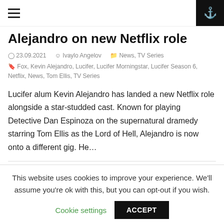Navigation header with hamburger menu and search icon
Alejandro on new Netflix role
23.09.2021  Ivaylo Angelov  News, TV Series
Fox, Kevin Alejandro, Lucifer, Lucifer Morningstar, Lucifer Season 6, Netflix, News, Tom Ellis, TV Series
Lucifer alum Kevin Alejandro has landed a new Netflix role alongside a star-studded cast. Known for playing Detective Dan Espinoza on the supernatural dramedy starring Tom Ellis as the Lord of Hell, Alejandro is now onto a different gig. He…
CONTINUE READING →
This website uses cookies to improve your experience. We'll assume you're ok with this, but you can opt-out if you wish.
Cookie settings  ACCEPT